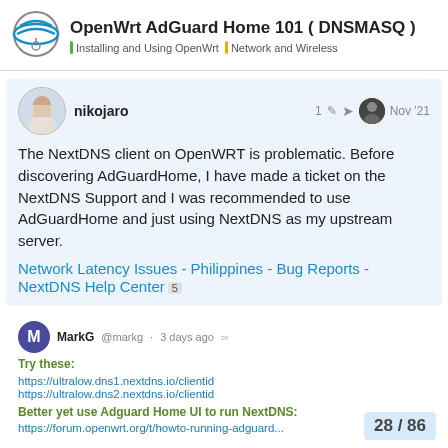OpenWrt AdGuard Home 101 ( DNSMASQ ) — Installing and Using OpenWrt | Network and Wireless
nikojaro
1 [edit] [share] Nov '21
The NextDNS client on OpenWRT is problematic. Before discovering AdGuardHome, I have made a ticket on the NextDNS Support and I was recommended to use AdGuardHome and just using NextDNS as my upstream server.
Network Latency Issues - Philippines - Bug Reports - NextDNS Help Center 5
MarkG @markg · 3 days ago
Try these:
https://ultralow.dns1.nextdns.io/clientid
https://ultralow.dns2.nextdns.io/clientid
Better yet use Adguard Home UI to run NextDNS:
https://forum.openwrt.org/t/howto-running-adguard...
28 / 86